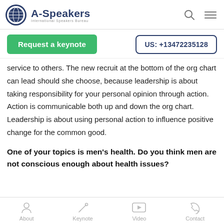A-Speakers International Speakers Bureau
Request a keynote | US: +13472235128
service to others. The new recruit at the bottom of the org chart can lead should she choose, because leadership is about taking responsibility for your personal opinion through action. Action is communicable both up and down the org chart. Leadership is about using personal action to influence positive change for the common good.
One of your topics is men's health. Do you think men are not conscious enough about health issues?
About | Keynote | Video | Contact